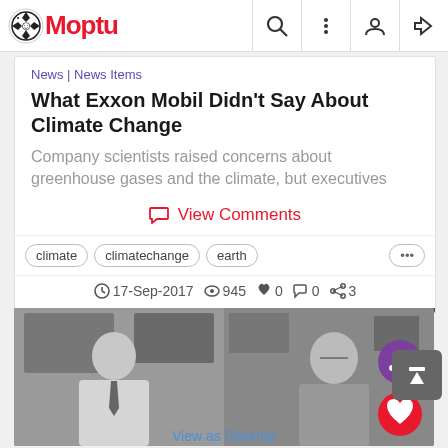Moptu [navigation bar with search, menu, profile, login icons]
News | News Items
What Exxon Mobil Didn't Say About Climate Change
Company scientists raised concerns about greenhouse gases and the climate, but executives
View Comments
climate
climatechange
earth
17-Sep-2017  945  0  0  3
[Figure (photo): Black and white photo of two men in business attire, with purple share button and red heart button overlaid]
View as Desktop